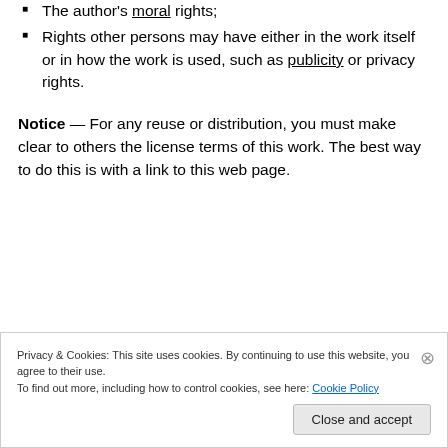The author's moral rights;
Rights other persons may have either in the work itself or in how the work is used, such as publicity or privacy rights.
Notice — For any reuse or distribution, you must make clear to others the license terms of this work. The best way to do this is with a link to this web page.
Privacy & Cookies: This site uses cookies. By continuing to use this website, you agree to their use.
To find out more, including how to control cookies, see here: Cookie Policy